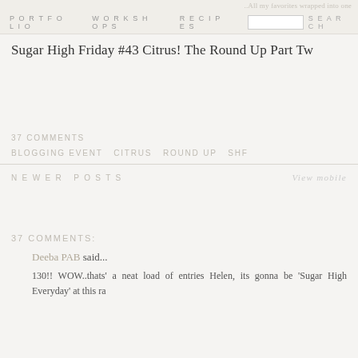All my favorites wrapped into one
PORTFOLIO   WORKSHOPS   RECIPES   SEARCH
Sugar High Friday #43 Citrus! The Round Up Part Two
37 COMMENTS
BLOGGING EVENT CITRUS ROUND UP SHF
NEWER POSTS
View mobile
37 COMMENTS:
Deeba PAB said...
130!! WOW..thats' a neat load of entries Helen, its gonna be 'Sugar High Everyday' at this ra